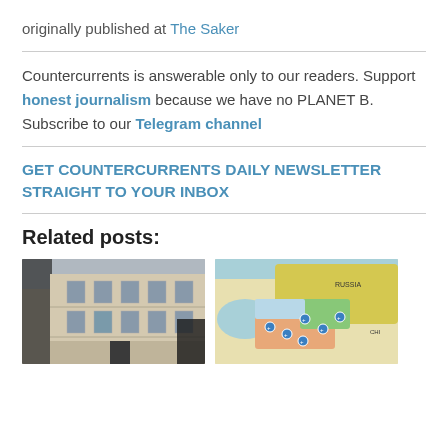originally published at The Saker
Countercurrents is answerable only to our readers. Support honest journalism because we have no PLANET B. Subscribe to our Telegram channel
GET COUNTERCURRENTS DAILY NEWSLETTER STRAIGHT TO YOUR INBOX
Related posts:
[Figure (photo): Photo of a multi-storey building facade with windows, appears to be an embassy or official building]
[Figure (map): Colorful map showing Russia and surrounding regions with location markers]